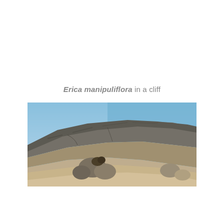Erica manipuliflora in a cliff
[Figure (photo): Photograph of a rocky cliff face with sandy/limestone rocks rising diagonally from lower left to upper right, with a clear bright blue sky in the upper right portion. Small shrub visible among the rocks.]